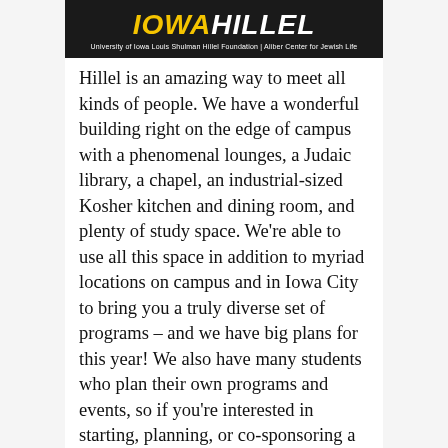[Figure (logo): Iowa Hillel logo banner — University of Iowa Louis Shulman Hillel Foundation | Aliber Center for Jewish Life. Black background with 'Iowa' in yellow italic bold and 'Hillel' in white italic bold, with subtitle text below.]
Hillel is an amazing way to meet all kinds of people. We have a wonderful building right on the edge of campus with a phenomenal lounges, a Judaic library, a chapel, an industrial-sized Kosher kitchen and dining room, and plenty of study space. We're able to use all this space in addition to myriad locations on campus and in Iowa City to bring you a truly diverse set of programs – and we have big plans for this year! We also have many students who plan their own programs and events, so if you're interested in starting, planning, or co-sponsoring a program/event, we'd love to make it happen; we're always looking for new ideas!